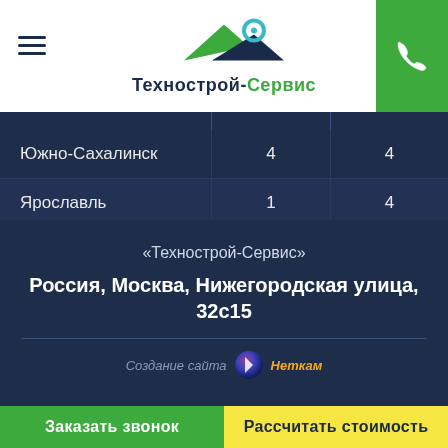Технострой-Сервис
|  |  |  |
| --- | --- | --- |
| Южно-Сахалинск | 4 | 4 |
| Ярославль | 1 | 4 |
| Якутск | 2 | 2 |
«Технострой-Сервис»
Россия, Москва, Нижегородская улица, 32с15
Создание сайта  Неткам
Заказать звонок   Рассчитать стоимость